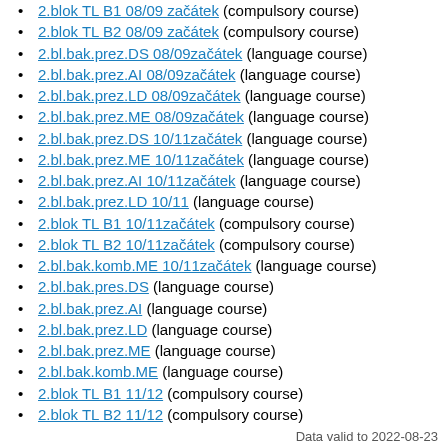2.blok TL B1 08/09 začátek (compulsory course)
2.blok TL B2 08/09 začátek (compulsory course)
2.bl.bak.prez.DS 08/09začátek (language course)
2.bl.bak.prez.AI 08/09začátek (language course)
2.bl.bak.prez.LD 08/09začátek (language course)
2.bl.bak.prez.ME 08/09začátek (language course)
2.bl.bak.prez.DS 10/11začátek (language course)
2.bl.bak.prez.ME 10/11začátek (language course)
2.bl.bak.prez.AI 10/11začátek (language course)
2.bl.bak.prez.LD 10/11 (language course)
2.blok TL B1 10/11začátek (compulsory course)
2.blok TL B2 10/11začátek (compulsory course)
2.bl.bak.komb.ME 10/11začátek (language course)
2.bl.bak.pres.DS (language course)
2.bl.bak.prez.AI (language course)
2.bl.bak.prez.LD (language course)
2.bl.bak.prez.ME (language course)
2.bl.bak.komb.ME (language course)
2.blok TL B1 11/12 (compulsory course)
2.blok TL B2 11/12 (compulsory course)
Data valid to 2022-08-23